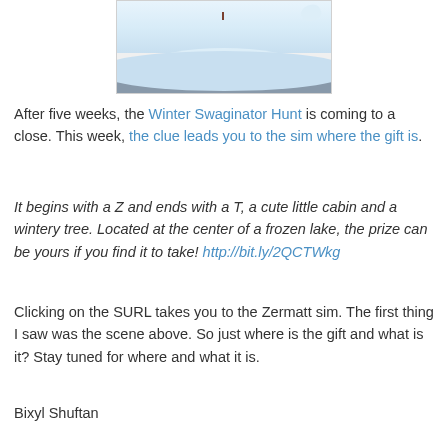[Figure (photo): Aerial/snowy winter scene showing a snow-covered hill or glacier with a small figure visible, and a partial wing or leaf shape in the upper right. Gray/blue tones at bottom suggesting frozen lake or shadow.]
After five weeks, the Winter Swaginator Hunt is coming to a close. This week, the clue leads you to the sim where the gift is.
It begins with a Z and ends with a T, a cute little cabin and a wintery tree. Located at the center of a frozen lake, the prize can be yours if you find it to take! http://bit.ly/2QCTWkg
Clicking on the SURL takes you to the Zermatt sim. The first thing I saw was the scene above. So just where is the gift and what is it? Stay tuned for where and what it is.
Bixyl Shuftan